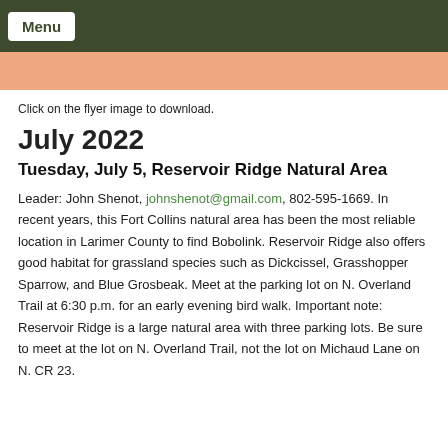Menu
[Figure (other): Salmon/peach colored decorative banner bar]
Click on the flyer image to download.
July 2022
Tuesday, July 5, Reservoir Ridge Natural Area
Leader: John Shenot, johnshenot@gmail.com, 802-595-1669. In recent years, this Fort Collins natural area has been the most reliable location in Larimer County to find Bobolink. Reservoir Ridge also offers good habitat for grassland species such as Dickcissel, Grasshopper Sparrow, and Blue Grosbeak. Meet at the parking lot on N. Overland Trail at 6:30 p.m. for an early evening bird walk. Important note: Reservoir Ridge is a large natural area with three parking lots. Be sure to meet at the lot on N. Overland Trail, not the lot on Michaud Lane on N. CR 23.